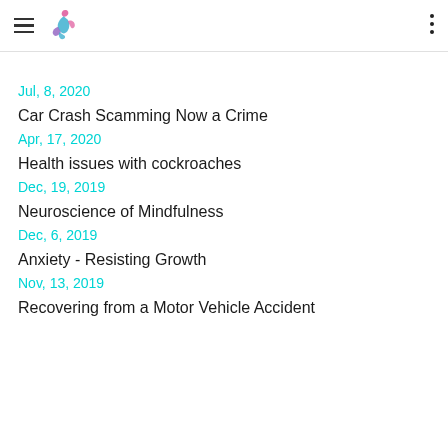[logo and navigation]
...partial text cut off at top...
Jul, 8, 2020
Car Crash Scamming Now a Crime
Apr, 17, 2020
Health issues with cockroaches
Dec, 19, 2019
Neuroscience of Mindfulness
Dec, 6, 2019
Anxiety - Resisting Growth
Nov, 13, 2019
Recovering from a Motor Vehicle Accident